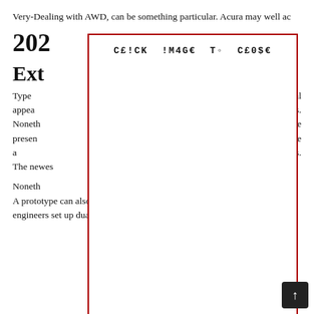Very-Dealing with AWD, can be something particular. Acura may well ac
[Figure (other): Image placeholder overlay with red border and text 'CE!CK !M4GE TO CE0$E' in monospace font, covering most of the page]
202
Exte
Type physical appea ecifics. Noneth will be presen ll even have a bly the most c s. The newes
Noneth sea A prototype can also be less than just before, and technical engineers set up dual wishbone entrance suspensions. Two